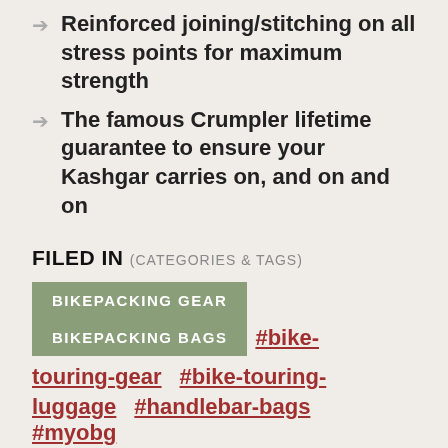Reinforced joining/stitching on all stress points for maximum strength
The famous Crumpler lifetime guarantee to ensure your Kashgar carries on, and on and on
FILED IN (CATEGORIES & TAGS)
BIKEPACKING GEAR
BIKEPACKING BAGS
#bike-touring-gear
#bike-touring-luggage
#handlebar-bags
#myobg
FROM OUR SPONSOR: MORE CONTENT BELOW...
[Figure (photo): Revelate Designs advertisement banner showing a cyclist with arms raised on the left and the Revelate Designs logo with gear icon on a dark background on the right, with text 'Alaskan Born']